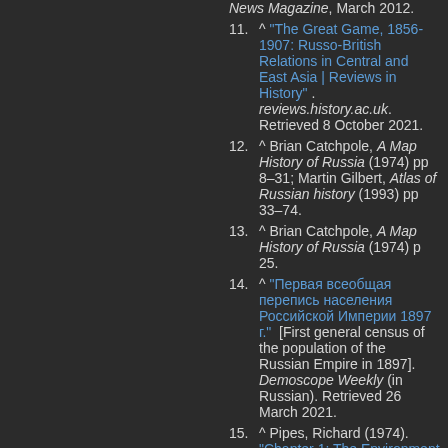News Magazine, March 2012.
11. ^ "The Great Game, 1856-1907: Russo-British Relations in Central and East Asia | Reviews in History" . reviews.history.ac.uk. Retrieved 8 October 2021.
12. ^ Brian Catchpole, A Map History of Russia (1974) pp 8–31; Martin Gilbert, Atlas of Russian history (1993) pp 33–74.
13. ^ Brian Catchpole, A Map History of Russia (1974) p 25.
14. ^ "Первая всеобщая перепись населения Российской Империи 1897 г." [First general census of the population of the Russian Empire in 1897]. Demoscope Weekly (in Russian). Retrieved 26 March 2021.
15. ^ Pipes, Richard (1974). "Chapter 1: The Environment and its Consequences" 🔒. Russia under the Old Regime. New York: Scribner.